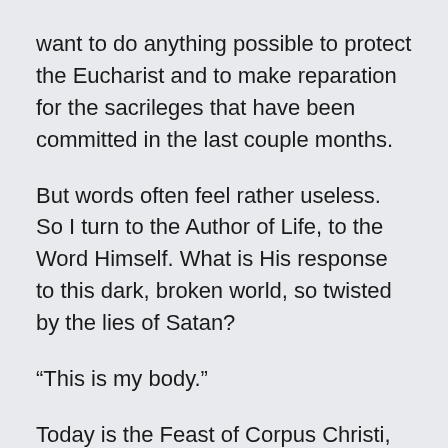want to do anything possible to protect the Eucharist and to make reparation for the sacrileges that have been committed in the last couple months.
But words often feel rather useless. So I turn to the Author of Life, to the Word Himself. What is His response to this dark, broken world, so twisted by the lies of Satan?
“This is my body.”
Today is the Feast of Corpus Christi, the Solemnity of the Most Holy Body and Blood of Christ. As Catholics, we believe that the host consecrated by the priest is Jesus’ body, blood,